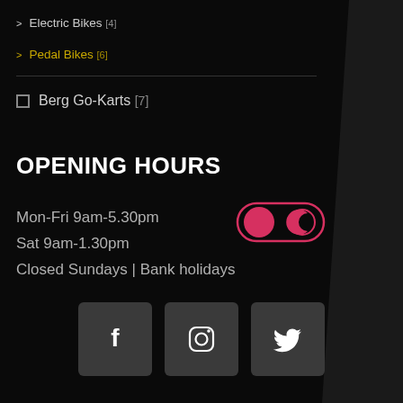> Electric Bikes [4]
> Pedal Bikes [6]
□ Berg Go-Karts [7]
OPENING HOURS
Mon-Fri 9am-5.30pm
Sat 9am-1.30pm
Closed Sundays | Bank holidays
[Figure (infographic): Dark mode toggle switch with red/pink circle on left and crescent moon icon on right, outlined in pink/red]
[Figure (infographic): Three social media icon buttons: Facebook (f), Instagram (camera), Twitter (bird) on dark grey square backgrounds]